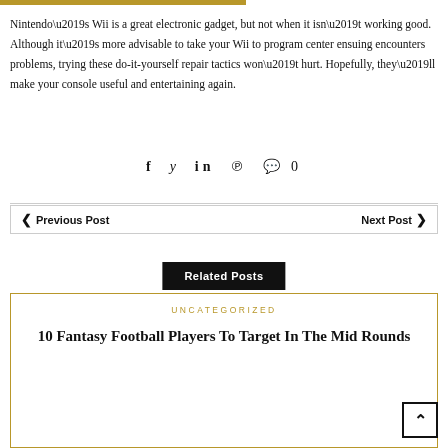Nintendo’s Wii is a great electronic gadget, but not when it isn’t working good. Although it’s more advisable to take your Wii to program center ensuing encounters problems, trying these do-it-yourself repair tactics won’t hurt. Hopefully, they’ll make your console useful and entertaining again.
[Figure (other): Social share icons: Facebook, Twitter, LinkedIn, Pinterest, Comment with count 0]
← Previous Post    Next Post →
Related Posts
UNCATEGORIZED
10 Fantasy Football Players To Target In The Mid Rounds